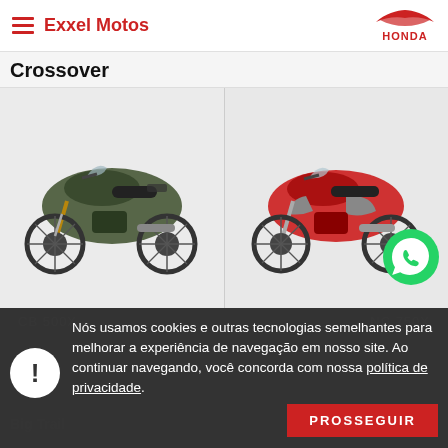Exxel Motos
Crossover
[Figure (photo): Green Honda CB 500X crossover motorcycle on white/light grey background]
[Figure (photo): Red Honda NC 750X crossover motorcycle on white/light grey background with WhatsApp icon overlay]
CB 500X
NC 750X
Big Trail
Nós usamos cookies e outras tecnologias semelhantes para melhorar a experiência de navegação em nosso site. Ao continuar navegando, você concorda com nossa política de privacidade.
PROSSEGUIR